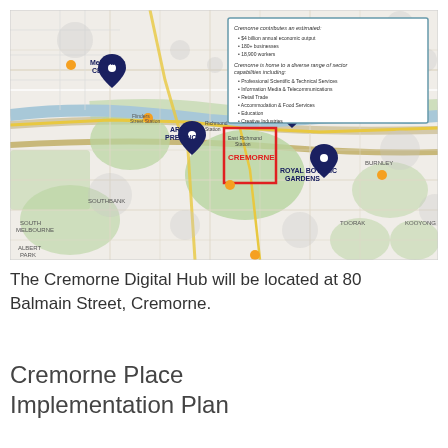[Figure (map): Street map of Melbourne inner suburbs showing Cremorne highlighted with a red boundary box. Key landmarks labeled include Melbourne CBD, Arts Precinct, Sports Precinct, Royal Botanic Gardens, South Melbourne, Albert Park, Richmond, Hawthorn, Burnley, Toorak, Kooyong. An information callout box in the upper right states Cremorne contributes an estimated $4 billion annual economic output, 180+ businesses, 18,900 workers. Cremorne is home to a diverse range of sector capabilities including Professional Scientific & Technical Services, Information Media & Telecommunications, Retail Trade, Accommodation & Food Services, Education, Creative Industries.]
The Cremorne Digital Hub will be located at 80 Balmain Street, Cremorne.
Cremorne Place Implementation Plan